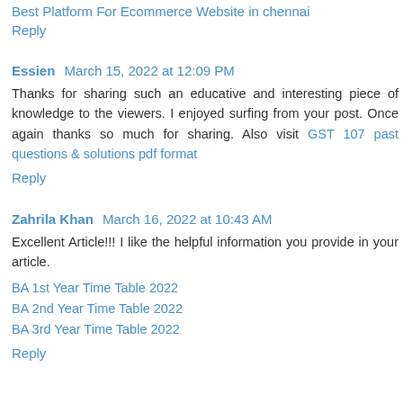Best Platform For Ecommerce Website in chennai
Reply
Essien  March 15, 2022 at 12:09 PM
Thanks for sharing such an educative and interesting piece of knowledge to the viewers. I enjoyed surfing from your post. Once again thanks so much for sharing. Also visit GST 107 past questions & solutions pdf format
Reply
Zahrila Khan  March 16, 2022 at 10:43 AM
Excellent Article!!! I like the helpful information you provide in your article.
BA 1st Year Time Table 2022
BA 2nd Year Time Table 2022
BA 3rd Year Time Table 2022
Reply